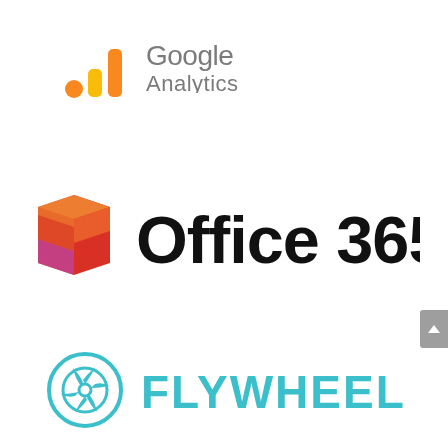[Figure (logo): Google Analytics logo: bar chart icon in orange/yellow tones with text 'Google Analytics' in gray]
[Figure (logo): Microsoft Office 365 logo: colorful bent ribbon icon in red, orange, pink with bold black text 'Office 365']
[Figure (logo): Flywheel logo: circular turbine/fan icon in teal/cyan with bold teal text 'FLYWHEEL']